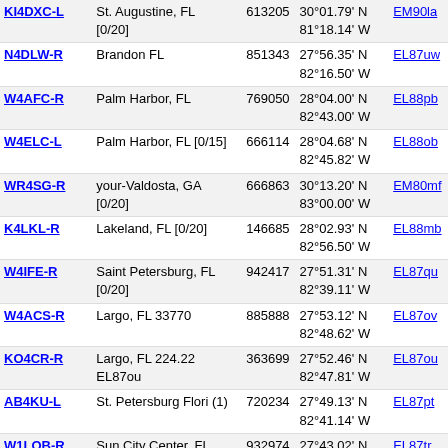| Callsign | Location | ID | Coordinates | Grid |
| --- | --- | --- | --- | --- |
| KI4DXC-L | St. Augustine, FL [0/20] | 613205 | 30°01.79' N 81°18.14' W | EM90la |
| N4DLW-R | Brandon FL | 851343 | 27°56.35' N 82°16.50' W | EL87uw |
| W4AFC-R | Palm Harbor, FL | 769050 | 28°04.00' N 82°43.00' W | EL88pb |
| W4ELC-L | Palm Harbor, FL [0/15] | 666114 | 28°04.68' N 82°45.82' W | EL88ob |
| WR4SG-R | your-Valdosta, GA [0/20] | 666863 | 30°13.20' N 83°00.00' W | EM80mf |
| K4LKL-R | Lakeland, FL [0/20] | 146685 | 28°02.93' N 82°56.50' W | EL88mb |
| W4IFE-R | Saint Petersburg, FL [0/20] | 942417 | 27°51.31' N 82°39.11' W | EL87qu |
| W4ACS-R | Largo, FL 33770 | 885888 | 27°53.12' N 82°48.62' W | EL87ov |
| KO4CR-R | Largo, FL 224.22 EL87ou | 363699 | 27°52.46' N 82°47.81' W | EL87ou |
| AB4KU-L | St. Petersburg Flori (1) | 720234 | 27°49.13' N 82°41.14' W | EL87pt |
| W1LOB-R | Sun City Center, FL [0/20] | 932974 | 27°43.02' N 82°21.06' W | EL87tr |
| W3YT-R | Tresure Island FL [0/20] | 86768 | 27°44.40' N 82°45.60' W | EL87or |
| W9PQ-L | Melbourne, FL, USA [0/10] | 640453 | 28°07.82' N 80°40.70' W | EL98pd |
| W4ILJ-L | AllStar 40409 [0/10] | 163667 | 28°02.96' N | EL98qb |